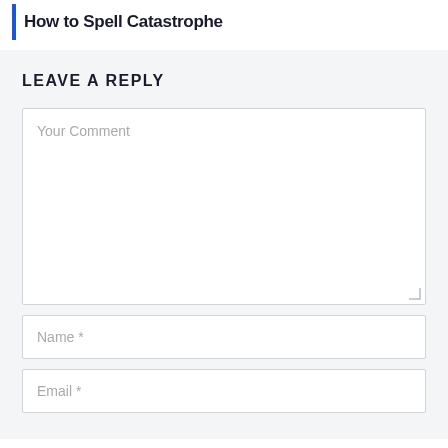How to Spell Catastrophe
LEAVE A REPLY
Your Comment
Name *
Email *